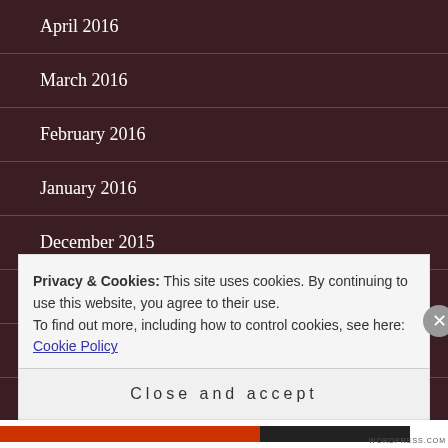April 2016
March 2016
February 2016
January 2016
December 2015
November 2015
October 2015
September 2015
Privacy & Cookies: This site uses cookies. By continuing to use this website, you agree to their use. To find out more, including how to control cookies, see here: Cookie Policy
Close and accept